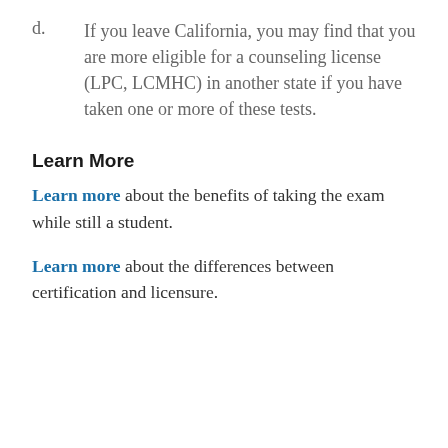d.      If you leave California, you may find that you are more eligible for a counseling license (LPC, LCMHC) in another state if you have taken one or more of these tests.
Learn More
Learn more about the benefits of taking the exam while still a student.
Learn more about the differences between certification and licensure.